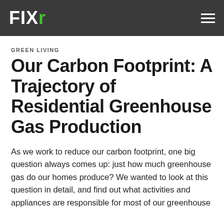FIXR
GREEN LIVING
Our Carbon Footprint: A Trajectory of Residential Greenhouse Gas Production
As we work to reduce our carbon footprint, one big question always comes up: just how much greenhouse gas do our homes produce? We wanted to look at this question in detail, and find out what activities and appliances are responsible for most of our greenhouse